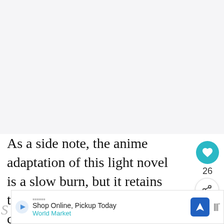[Figure (screenshot): Large blank/white-grey area representing an image or video placeholder at the top of the page]
As a side note, the anime adaptation of this light novel is a slow burn, but it retains the original's charms and colourful tone
[Figure (screenshot): Advertisement banner: Shop Online, Pickup Today - World Market]
[Figure (infographic): WHAT'S NEXT callout card: 15 Must-Try Japanese...]